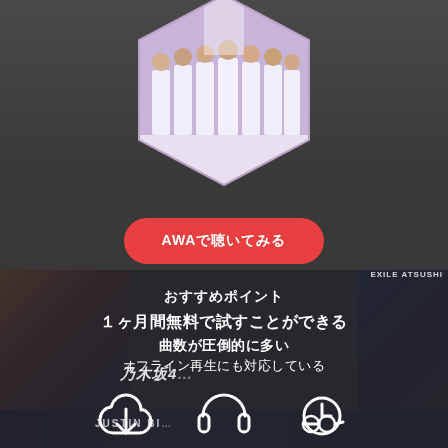[Figure (photo): Hexagonal framed photo of a music group (several young men in white/light colored suits) on a dark grey gradient background]
AWA（アプリで聴く）
おすすめポイント
1ヶ月間無料で試すことができる
曲数が圧倒的に多い
オフライン再生にも対応している
[Figure (infographic): Three white outline icons: download/cloud icon, headphones icon, and clock/history icon, overlaid on a collage of album art backgrounds]